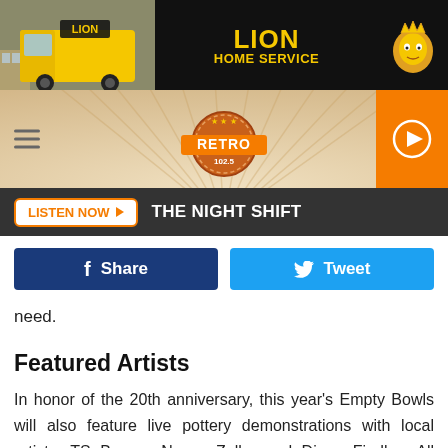[Figure (screenshot): Lion Home Service advertisement banner — black background with yellow delivery truck on left, LION HOME SERVICE text in yellow, lion mascot logo on right]
[Figure (screenshot): Retro 102.5 radio station header with sunburst background, hamburger menu icon on left, RETRO 102.5 logo in center, orange play button on right]
LISTEN NOW  THE NIGHT SHIFT
Share  Tweet
need.
Featured Artists
In honor of the 20th anniversary, this year's Empty Bowls will also feature live pottery demonstrations with local artists, TS Berger, Nancy Zoller and Diane Findley. All three are members of the Trimble Court Artisan's Gallery and